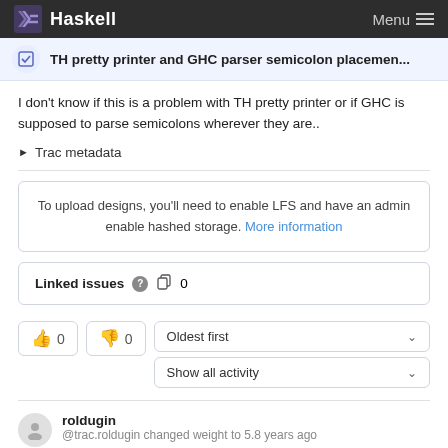Haskell  Menu
TH pretty printer and GHC parser semicolon placemen...
I don't know if this is a problem with TH pretty printer or if GHC is supposed to parse semicolons wherever they are..
▶ Trac metadata
To upload designs, you'll need to enable LFS and have an admin enable hashed storage. More information
Linked issues  0
👍 0   👎 0    Oldest first    Show all activity
roldugin
@trac.roldugin changed weight to 5.8 years ago